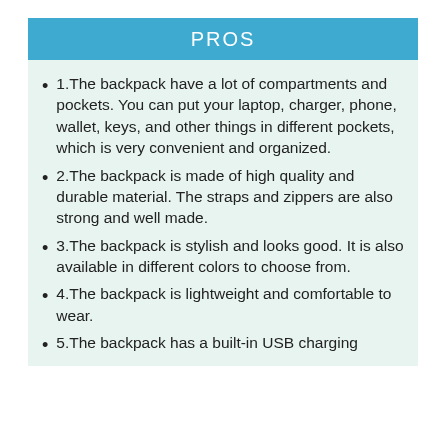PROS
1.The backpack have a lot of compartments and pockets. You can put your laptop, charger, phone, wallet, keys, and other things in different pockets, which is very convenient and organized.
2.The backpack is made of high quality and durable material. The straps and zippers are also strong and well made.
3.The backpack is stylish and looks good. It is also available in different colors to choose from.
4.The backpack is lightweight and comfortable to wear.
5.The backpack has a built-in USB charging